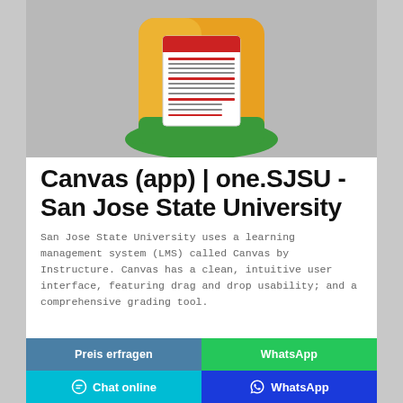[Figure (photo): Product image showing a bag with colorful orange/yellow/green packaging and a red/white label with text on the back, on a grey background]
Canvas (app) | one.SJSU - San Jose State University
San Jose State University uses a learning management system (LMS) called Canvas by Instructure. Canvas has a clean, intuitive user interface, featuring drag and drop usability; and a comprehensive grading tool.
Preis erfragen | WhatsApp | Chat online | WhatsApp